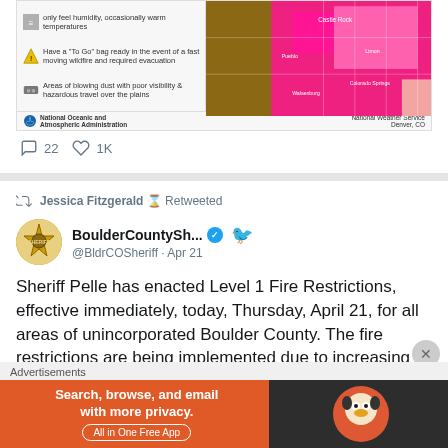[Figure (screenshot): National Weather Service tweet image showing a weather warning card with icons about wildfire safety and a map of Colorado with pink/magenta highlighted areas indicating fire weather warnings, with NWS Denver, CO footer]
22  1K
Jessica Fitzgerald ( Retweeted
[Figure (photo): Boulder County Sheriff star badge logo avatar]
BoulderCountySh... @BldrCOSheriff · Apr 21
Sheriff Pelle has enacted Level 1 Fire Restrictions, effective immediately, today, Thursday, April 21, for all areas of unincorporated Boulder County. The fire restrictions are being implemented due to increasing fire danger, lack of moisture, and the forecast for warm
Advertisements
[Figure (screenshot): DuckDuckGo advertisement banner: 'Search, browse, and email with more privacy. All in One Free App' with DuckDuckGo logo on dark background]